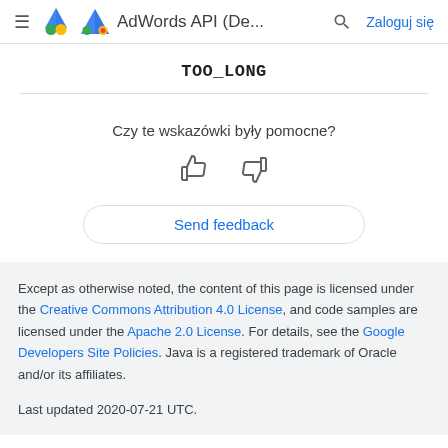AdWords API (De...  Zaloguj się
TOO_LONG
Czy te wskazówki były pomocne?
Send feedback
Except as otherwise noted, the content of this page is licensed under the Creative Commons Attribution 4.0 License, and code samples are licensed under the Apache 2.0 License. For details, see the Google Developers Site Policies. Java is a registered trademark of Oracle and/or its affiliates.

Last updated 2020-07-21 UTC.